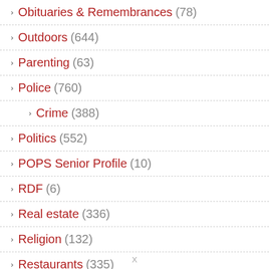Obituaries & Remembrances (78)
Outdoors (644)
Parenting (63)
Police (760)
Crime (388)
Politics (552)
POPS Senior Profile (10)
RDF (6)
Real estate (336)
Religion (132)
Restaurants (335)
Safety (151)
Scouts (2)